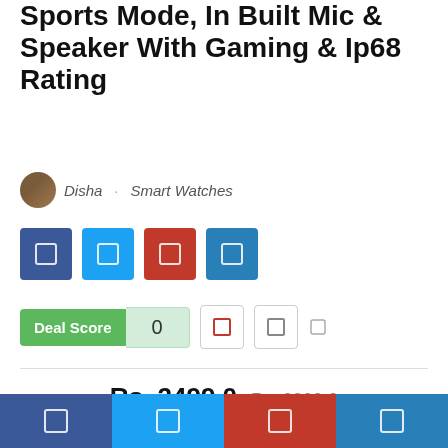Sports Mode, In Built Mic & Speaker With Gaming & Ip68 Rating
Disha · Smart Watches
[Figure (other): Social share buttons: Facebook, Twitter, Pinterest, LinkedIn]
Deal Score 0
Rs. 2499.0  Rs. 9999.0
BUY IT NOW
[Figure (other): Bottom navigation bar with four social media icons: Facebook, Twitter, Pinterest, LinkedIn]